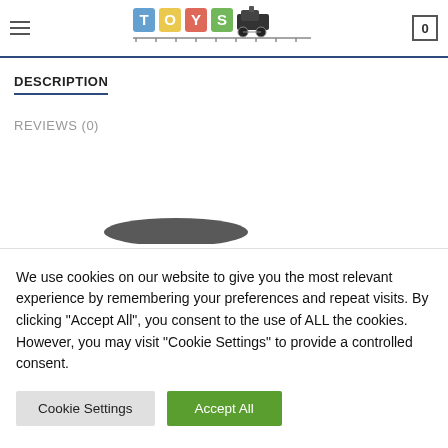TOYS (logo with train) | Cart: 0
DESCRIPTION
REVIEWS (0)
[Figure (photo): Partial view of a toy product image in the background]
We use cookies on our website to give you the most relevant experience by remembering your preferences and repeat visits. By clicking "Accept All", you consent to the use of ALL the cookies. However, you may visit "Cookie Settings" to provide a controlled consent.
Cookie Settings | Accept All